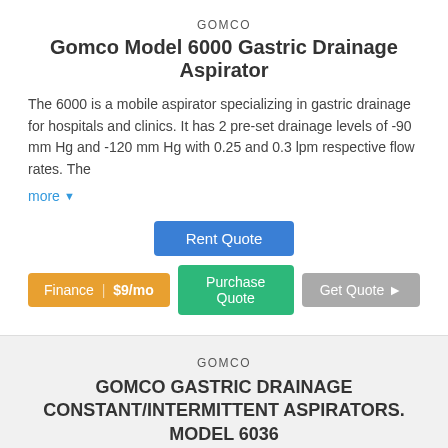GOMCO
Gomco Model 6000 Gastric Drainage Aspirator
The 6000 is a mobile aspirator specializing in gastric drainage for hospitals and clinics. It has 2 pre-set drainage levels of -90 mm Hg and -120 mm Hg with 0.25 and 0.3 lpm respective flow rates. The
more ▼
Rent Quote
Finance | $9/mo
Purchase Quote
Get Quote ▶
GOMCO
GOMCO GASTRIC DRAINAGE CONSTANT/INTERMITTENT ASPIRATORS. Model 6036
GOMCO 6036 AND 6037 ARE MOBILE ASPIRATORS WHICH SPECIALIZE IN GASTRIC DRAINAGE FOR HOSPITALS AND CLINICS.